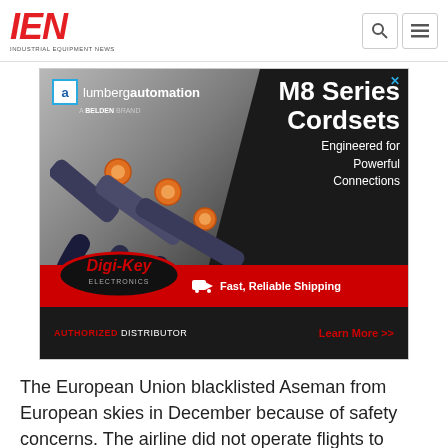IEN - INDUSTRIAL EQUIPMENT NEWS
[Figure (photo): Lumberg Automation M8 Series Cordsets advertisement by Digi-Key Electronics. Features cable connectors on dark background with text: M8 Series Cordsets, Engineered for Powerful Connections, Fast Reliable Shipping, Learn More >>]
The European Union blacklisted Aseman from European skies in December because of safety concerns. The airline did not operate flights to